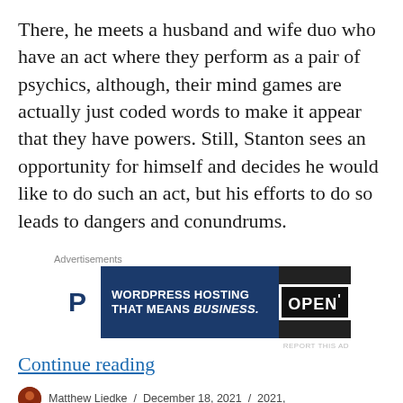There, he meets a husband and wife duo who have an act where they perform as a pair of psychics, although, their mind games are actually just coded words to make it appear that they have powers. Still, Stanton sees an opportunity for himself and decides he would like to do such an act, but his efforts to do so leads to dangers and conundrums.
Advertisements
[Figure (other): WordPress Hosting advertisement banner showing a P logo and the text 'WORDPRESS HOSTING THAT MEANS BUSINESS.' alongside an OPEN sign image]
REPORT THIS AD
Continue reading
Matthew Liedke / December 18, 2021 / 2021,